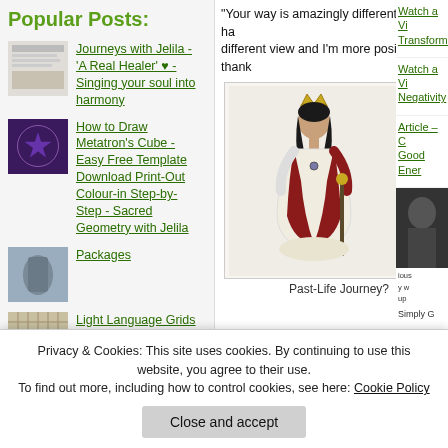Popular Posts:
Journeys with Jelila - 'A Real Healer' ♥ - Singing your soul into harmony
How to Draw Metatron's Cube - Easy Free Template Download Print-Out Colour-in Step-by-Step - Sacred Geometry with Jelila
Packages
Light Language Grids
"Your way is amazingly different – I feel I have a different view and I'm more positive… thank
[Figure (illustration): Illustrated queen figure wearing crown, white and red dress, holding a scepter]
Past-Life Journey?
Watch a Vi Transforma
Watch a Vi Negativity
Article – C Good Ener
Privacy & Cookies: This site uses cookies. By continuing to use this website, you agree to their use. To find out more, including how to control cookies, see here: Cookie Policy
Close and accept